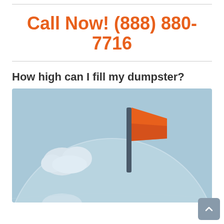Call Now! (888) 880-7716
How high can I fill my dumpster?
[Figure (illustration): Illustration of a globe with a red/orange flag planted at the top, and a cloud in the background, on a light blue sky background.]